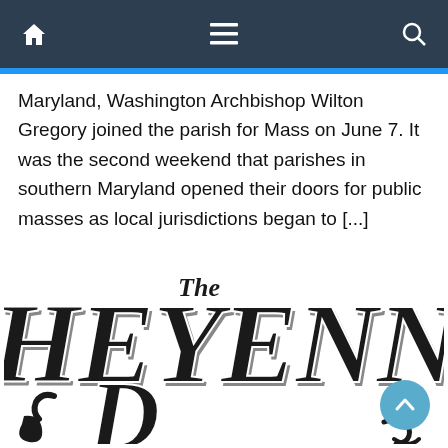Navigation bar with home, menu, and search icons
Maryland, Washington Archbishop Wilton Gregory joined the parish for Mass on June 7. It was the second weekend that parishes in southern Maryland opened their doors for public masses as local jurisdictions began to [...]
[Figure (logo): The Cheyenne logo in ornate black gothic/western decorative lettering with white highlights and shadow, showing 'The Cheyenne' text, partially cropped at bottom]